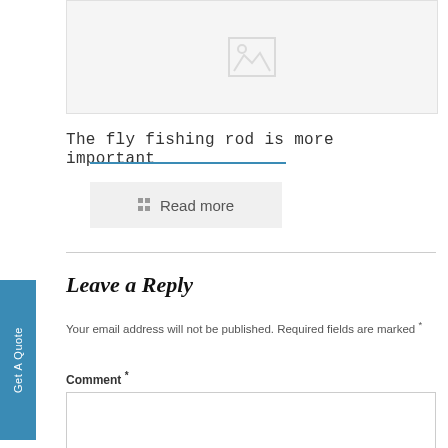[Figure (other): Placeholder image thumbnail with a grey mountain/image icon]
The fly fishing rod is more important
Read more
Leave a Reply
Your email address will not be published. Required fields are marked *
Comment *